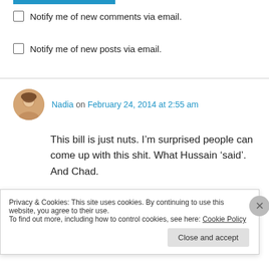[Figure (other): Blue horizontal bar at top of page]
Notify me of new comments via email.
Notify me of new posts via email.
Nadia on February 24, 2014 at 2:55 am
This bill is just nuts. I’m surprised people can come up with this shit. What Hussain ‘said’. And Chad.
★ Like
Privacy & Cookies: This site uses cookies. By continuing to use this website, you agree to their use.
To find out more, including how to control cookies, see here: Cookie Policy